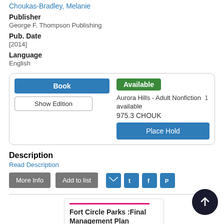Choukas-Bradley, Melanie
Publisher
George F. Thompson Publishing
Pub. Date
[2014]
Language
English
| Book | Available | Aurora Hills - Adult Nonfiction 1 available | 975.3 CHOUK | Place Hold |
| Show Edition |  |  |  |  |
Description
Read Description
More Info | Add to list
[Figure (infographic): Social share icons: email, Twitter, Facebook, Pinterest]
Fort Circle Parks :Final Management Plan